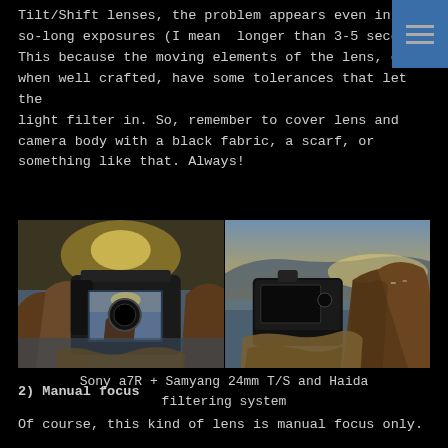Tilt/Shift lenses, the problem appears even in so-long exposures (I mean  longer than 3-5 seco This because the moving elements of the lens, even when well crafted, have some tolerances that let the light filter in. So, remember to cover lens and camera body with a black fabric, a scarf, or something like that. Always!
[Figure (photo): Two side-by-side photos: left photo shows a Sony a7R camera with Samyang 24mm T/S lens on rocks near water with a coastal landscape reflected in the LCD screen; right photo shows the same camera setup from behind on rocky coastline with sea and mountains in background.]
Sony a7R + Samyang 24mm T/S and Haida filtering system
2) Manual focus
Of course, this kind of lens is manual focus only.